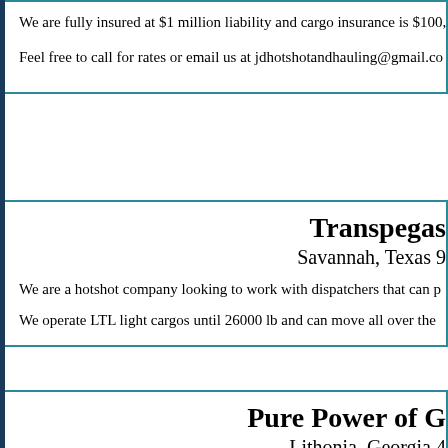We are fully insured at $1 million liability and cargo insurance is $100,
Feel free to call for rates or email us at jdhotshotandhauling@gmail.co
Transpegas
Savannah, Texas 9
We are a hotshot company looking to work with dispatchers that can p
We operate LTL light cargos until 26000 lb and can move all over the
Pure Power of G
Lithonia, Georgia 4
We have a 40-foot gooseneck flatbed with Mega Ramps that can haul
We are pulling it with a RAM 3500 dually.
We are available to travel state to state.